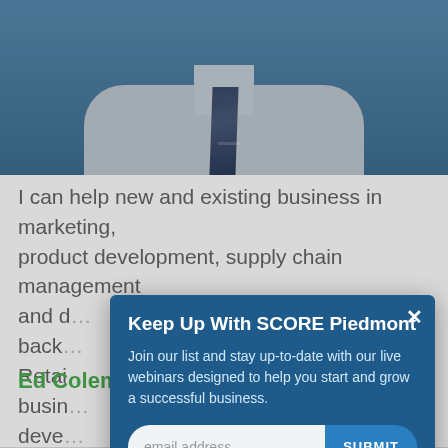[Figure (photo): Professional headshot of a man in a light grey dress shirt and dark blue striped tie against a blue background, cropped at chest level]
I can help new and existing business in marketing, product development, supply chain management and d... back... Retail... busin... deve... mark... mana...
Keep Up With SCORE Piedmont
Join our list and stay up-to-date with our live webinars designed to help you start and grow a successful business.
Ed Coleman